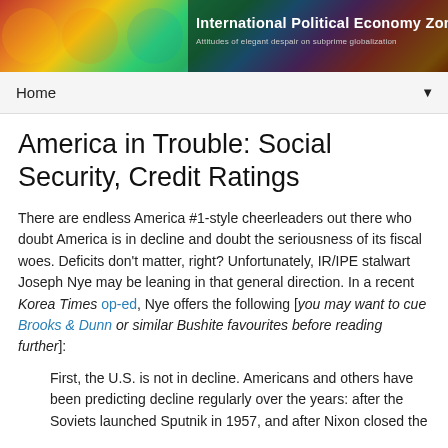[Figure (illustration): Colorful banner header with folk art figures and 'International Political Economy Zone' overlay text with subtitle 'Attitudes of elegant despair on subprime globalization']
International Political Economy Zone
Attitudes of elegant despair on subprime globalization
Home ▼
America in Trouble: Social Security, Credit Ratings
There are endless America #1-style cheerleaders out there who doubt America is in decline and doubt the seriousness of its fiscal woes. Deficits don't matter, right? Unfortunately, IR/IPE stalwart Joseph Nye may be leaning in that general direction. In a recent Korea Times op-ed, Nye offers the following [you may want to cue Brooks & Dunn or similar Bushite favourites before reading further]:
First, the U.S. is not in decline. Americans and others have been predicting decline regularly over the years: after the Soviets launched Sputnik in 1957, and after Nixon closed the